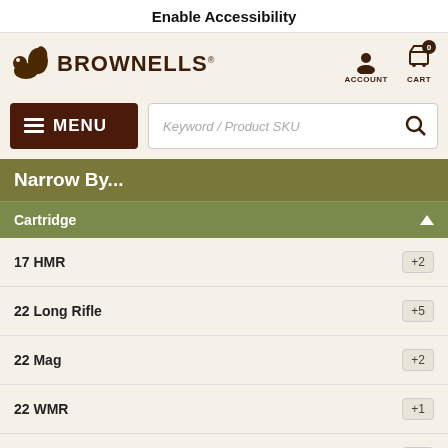Enable Accessibility
[Figure (logo): Brownells logo with squirrel icon and BROWNELLS text]
ACCOUNT
CART 0
MENU
Keyword / Product SKU
Narrow By...
Cartridge
17 HMR +2
22 Long Rifle +5
22 Mag +2
22 WMR +1
5.7 x 28 mm +1